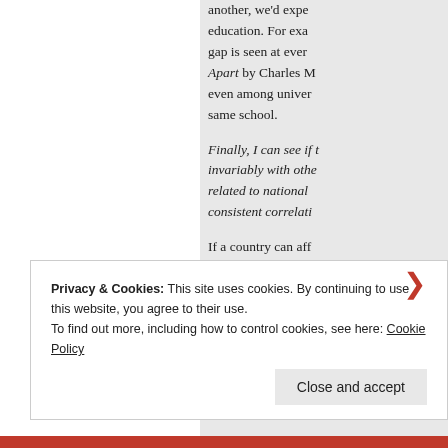another, we'd expect education. For example, gap is seen at every Apart by Charles Murray even among universities same school.
Finally, I can see if the invariably with other related to national consistent correlati...
If a country can afford it's doing well.
I'm not trying to pro...
Privacy & Cookies: This site uses cookies. By continuing to use this website, you agree to their use. To find out more, including how to control cookies, see here: Cookie Policy
Close and accept